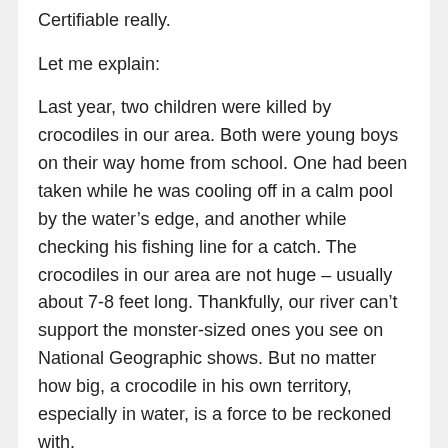Certifiable really.
Let me explain:
Last year, two children were killed by crocodiles in our area. Both were young boys on their way home from school. One had been taken while he was cooling off in a calm pool by the water’s edge, and another while checking his fishing line for a catch. The crocodiles in our area are not huge – usually about 7-8 feet long. Thankfully, our river can’t support the monster-sized ones you see on National Geographic shows. But no matter how big, a crocodile in his own territory, especially in water, is a force to be reckoned with.